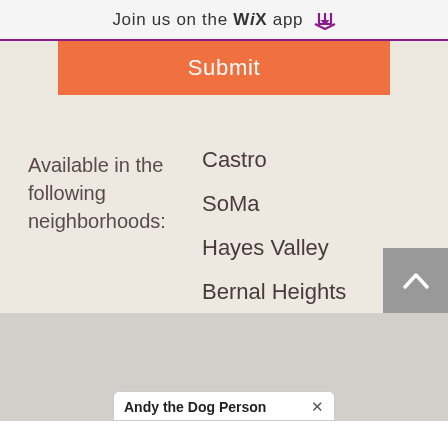Join us on the WiX app ⬇
Submit
Available in the following neighborhoods:
Castro
SoMa
Hayes Valley
Bernal Heights
Mission Bay
Andy the Dog Person